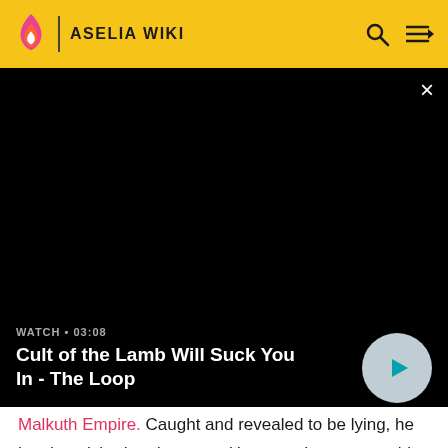ASELIA WIKI
[Figure (screenshot): Black video player area with close (×) button in top right. Below the black area is a panel showing 'WATCH • 03:08' and title 'Cult of the Lamb Will Suck You In - The Loop' with a circular play button on the right.]
Malkuth Empire. Caught and revealed to be lying, he is admonished and ceases. However, he resumes his attempts shortly after the fall of Akzeriuth. In order to prevent the party from convincing King Ingobert to stop the war, he reveals that Natalia Luzu Kimlasca-Lanvaldear is not the true princess of Kimlasca